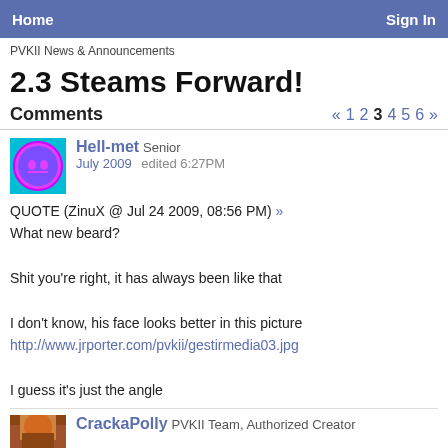Home | Sign In
PVKII News & Announcements
2.3 Steams Forward!
Comments
« 1 2 3 4 5 6 »
Hell-met Senior
July 2009   edited 6:27PM
QUOTE (ZinuX @ Jul 24 2009, 08:56 PM) »
What new beard?


Shit you're right, it has always been like that

I don't know, his face looks better in this picture
http://www.jrporter.com/pvkii/gestirmedia03.jpg

I guess it's just the angle
CrackaPolly PVKII Team, Authorized Creator